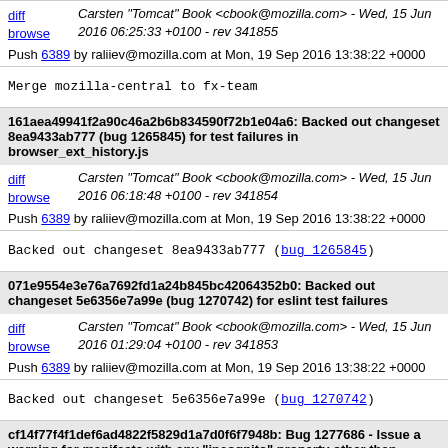diff browse — Carsten "Tomcat" Book <cbook@mozilla.com> - Wed, 15 Jun 2016 06:25:33 +0100 - rev 341855
Push 6389 by raliiev@mozilla.com at Mon, 19 Sep 2016 13:38:22 +0000
Merge mozilla-central to fx-team
161aea49941f2a90c46a2b6b834590f72b1e04a6: Backed out changeset 8ea9433ab777 (bug 1265845) for test failures in browser_ext_history.js
diff browse — Carsten "Tomcat" Book <cbook@mozilla.com> - Wed, 15 Jun 2016 06:18:48 +0100 - rev 341854
Push 6389 by raliiev@mozilla.com at Mon, 19 Sep 2016 13:38:22 +0000
Backed out changeset 8ea9433ab777 (bug_1265845)
071e9554e3e76a7692fd1a24b845bc42064352b0: Backed out changeset 5e6356e7a99e (bug 1270742) for eslint test failures
diff browse — Carsten "Tomcat" Book <cbook@mozilla.com> - Wed, 15 Jun 2016 01:29:04 +0100 - rev 341853
Push 6389 by raliiev@mozilla.com at Mon, 19 Sep 2016 13:38:22 +0000
Backed out changeset 5e6356e7a99e (bug_1270742)
cf14f77f4f1def6ad4822f5829d1a7d0f6f7948b: Bug 1277686 - Issue a warning for manifests with any "incognito" property other than "spanning", r=kmag
diff browse — Bob Silverberg <bsilverberg@mozilla.com> - Thu, 09 Jun